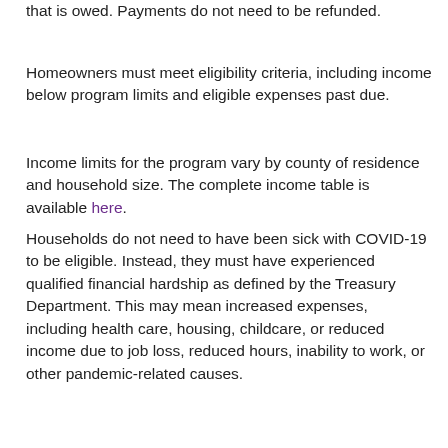that is owed. Payments do not need to be refunded.
Homeowners must meet eligibility criteria, including income below program limits and eligible expenses past due.
Income limits for the program vary by county of residence and household size. The complete income table is available here.
Households do not need to have been sick with COVID-19 to be eligible. Instead, they must have experienced qualified financial hardship as defined by the Treasury Department. This may mean increased expenses, including health care, housing, childcare, or reduced income due to job loss, reduced hours, inability to work, or other pandemic-related causes.
Requests for assistance can be submitted online at here and by phone at 800.388.3226. The website and app are available in English, Spanish, Somali and Hmong.